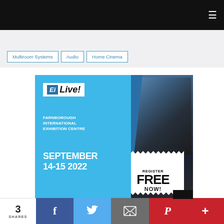Navigation header with hamburger menu
Multiroom Systems
Audio
Home Cinema
[Figure (photo): Ei Live! advertisement banner. Blue left panel with Ei Live! logo, text: FARNBOROUGH INTERNATIONAL EXHIBITION CENTRE, SEPTEMBER 14-15 2022, and a Register FREE NOW! badge. Right panel shows people at an exhibition.]
3 SHARES — social share buttons: Facebook, Twitter, Email, Pinterest, More